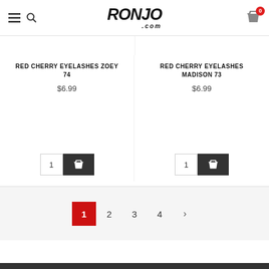Ronjo.com header with menu, search, and cart
RED CHERRY EYELASHES ZOEY 74 $6.99
RED CHERRY EYELASHES MADISON 73 $6.99
Pagination: 1 (active) 2 3 4 >